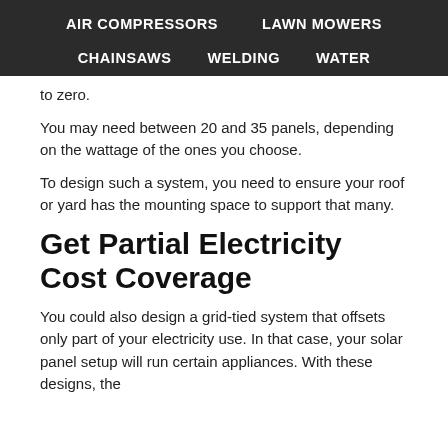AIR COMPRESSORS   LAWN MOWERS   CHAINSAWS   WELDING   WATER
to zero.
You may need between 20 and 35 panels, depending on the wattage of the ones you choose.
To design such a system, you need to ensure your roof or yard has the mounting space to support that many.
Get Partial Electricity Cost Coverage
You could also design a grid-tied system that offsets only part of your electricity use. In that case, your solar panel setup will run certain appliances. With these designs, the